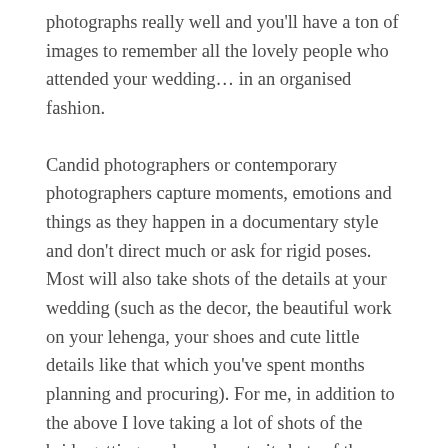photographs really well and you'll have a ton of images to remember all the lovely people who attended your wedding... in an organised fashion.
Candid photographers or contemporary photographers capture moments, emotions and things as they happen in a documentary style and don't direct much or ask for rigid poses. Most will also take shots of the details at your wedding (such as the decor, the beautiful work on your lehenga, your shoes and cute little details like that which you've spent months planning and procuring). For me, in addition to the above I love taking a lot of shots of the bride getting ready and portrait shots of the bride, the groom and people who are close to them in a natural, effortless style. This is important as these are the images which end up